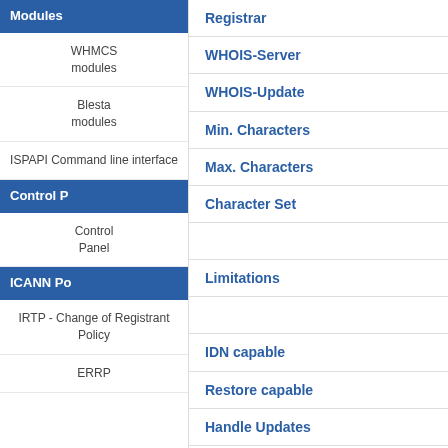Modules
WHMCS modules
Blesta modules
ISPAPI Command line interface
Control P
Control Panel
ICANN Po
IRTP - Change of Registrant Policy
ERRP
Registrar
WHOIS-Server
WHOIS-Update
Min. Characters
Max. Characters
Character Set
Limitations
IDN capable
Restore capable
Handle Updates
Registration System